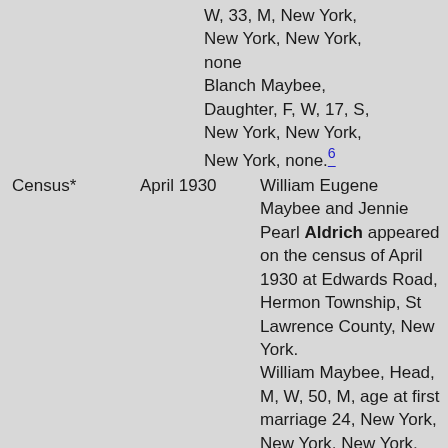W, 33, M, New York, New York, New York, none
Blanch Maybee, Daughter, F, W, 17, S, New York, New York, New York, none.6
Census*
April 1930
William Eugene Maybee and Jennie Pearl Aldrich appeared on the census of April 1930 at Edwards Road, Hermon Township, St Lawrence County, New York.
William Maybee, Head, M, W, 50, M, age at first marriage 24, New York, New York, New York, farms own farm
Jennie Maybee, Wife, F, W, 43, M, age at first marriage 15, New York, New York, New York
Alice Maybee, Mother,